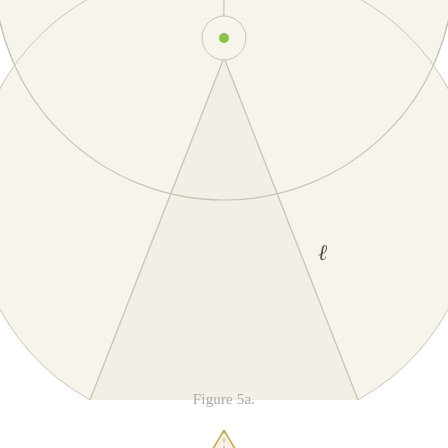[Figure (engineering-diagram): Top diagram (Figure 5a): A large circle with a smaller circle at the top center. Two straight lines extend downward from the small circle to form a cone/triangle shape that points downward, creating petal-like regions. A label 'ℓ' (script l) appears on the right side of the shape. A green dot marks the center of the small circle.]
Figure 5a.
[Figure (engineering-diagram): Bottom diagram: A tall narrow triangle (cone cross-section) with apex at top center. A dashed vertical line runs from apex downward as the height axis. The left face is labeled 'H' (height) and the right face is labeled 'ℓ' (slant height). The triangle is filled with a light beige/cream color with golden-tan outlines.]